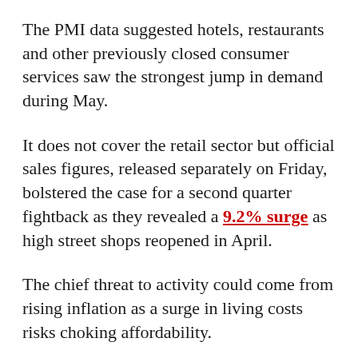The PMI data suggested hotels, restaurants and other previously closed consumer services saw the strongest jump in demand during May.
It does not cover the retail sector but official sales figures, released separately on Friday, bolstered the case for a second quarter fightback as they revealed a 9.2% surge as high street shops reopened in April.
The chief threat to activity could come from rising inflation as a surge in living costs risks choking affordability.
Please use Chrome browser for a more accessible video player